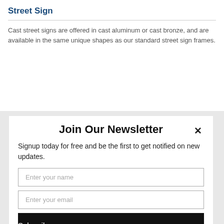Street Sign
Cast street signs are offered in cast aluminum or cast bronze, and are available in the same unique shapes as our standard street sign frames.
Join Our Newsletter
Signup today for free and be the first to get notified on new updates.
Enter your name
Enter your email
Subscribe
powered by MailMunch